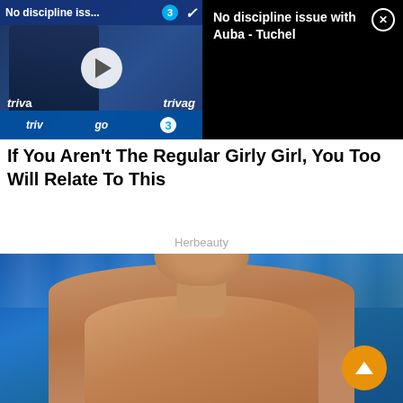[Figure (screenshot): Video thumbnail showing a sports press conference with Chelsea FC branding (trivago, number 3 logo, Nike), with a play button overlay. Text overlay reads 'No discipline iss...']
[Figure (screenshot): Black news panel with white text headline 'No discipline issue with Auba - Tuchel' and a circular close button (X)]
If You Aren't The Regular Girly Girl, You Too Will Relate To This
Herbeauty
[Figure (photo): Photo of a shirtless athletic man with dark wet hair leaning on a surface, with blue water/pool in the background. An orange scroll-to-top button (chevron up) is overlaid at bottom right.]